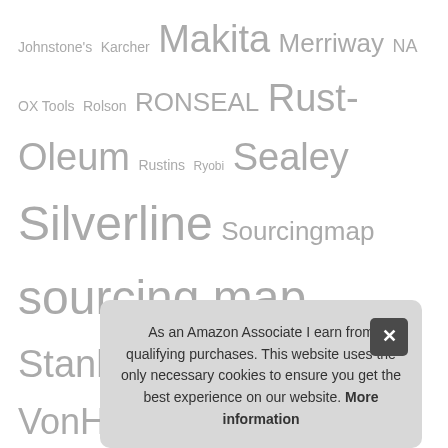Johnstone's Karcher Makita Merriway NA OX Tools Rolson RONSEAL Rust-Oleum Rustins Ryobi Sealey Silverline Sourcingmap sourcing map Stanley Trend Unibond Unknown VonHaus White Hinge WORKPRO XFORT Yale YöL
Recent Posts
Top 8 Mains Flex Connector UK – Electrical
Top 8 Standard Roses Bushes for Garden UK – Wall-mount Letterboxes
As an Amazon Associate I earn from qualifying purchases. This website uses the only necessary cookies to ensure you get the best experience on our website. More information